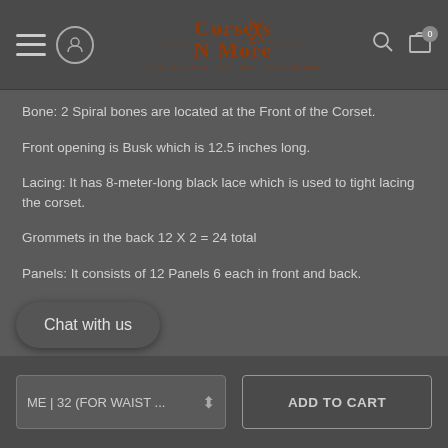[Figure (logo): Corsets N More logo with decorative text and scissors graphic in brown/rust color]
Bone: 2 Spiral bones are located at the Front of the Corset.
Front opening is Busk which is 12.5 inches long.
Lacing: It has 8-meter-long black lace which is used to tight lacing the corset.
Grommets in the back 12 X 2 = 24 total
Panels: It consists of 12 Panels 6 each in front and back.
Chat with us
ME | 32 (FOR WAIST ...
ADD TO CART